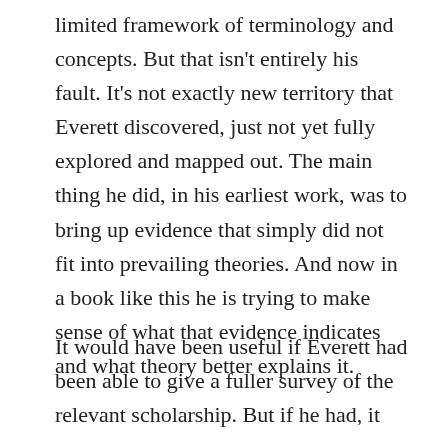limited framework of terminology and concepts. But that isn't entirely his fault. It's not exactly new territory that Everett discovered, just not yet fully explored and mapped out. The main thing he did, in his earliest work, was to bring up evidence that simply did not fit into prevailing theories. And now in a book like this he is trying to make sense of what that evidence indicates and what theory better explains it.
It would have been useful if Everett had been able to give a fuller survey of the relevant scholarship. But if he had, it